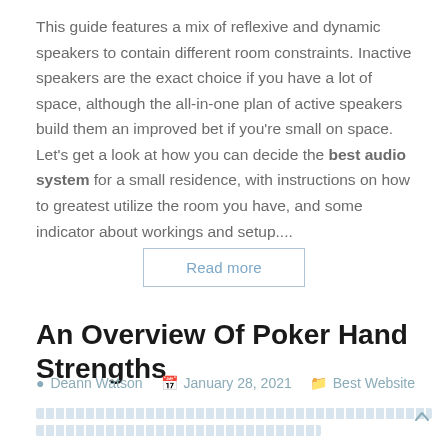This guide features a mix of reflexive and dynamic speakers to contain different room constraints. Inactive speakers are the exact choice if you have a lot of space, although the all-in-one plan of active speakers build them an improved bet if you're small on space. Let's get a look at how you can decide the best audio system for a small residence, with instructions on how to greatest utilize the room you have, and some indicator about workings and setup....
Read more
An Overview Of Poker Hand Strengths
Deann Watson   January 28, 2021   Best Website